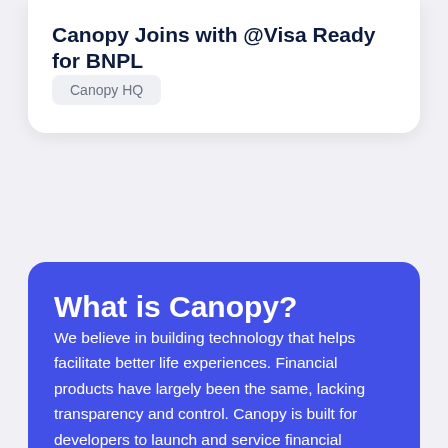Canopy Joins with @Visa Ready for BNPL
Canopy HQ
What is Canopy?
We believe in building technology that helps facilitate better life experiences. Financial products have largely been the same, lacking transparency and control. Canopy is built for developers to launch and service financial products in the most flexible way.